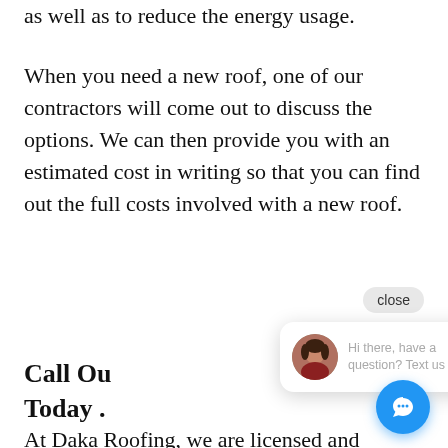new roof to change up the aesthetic as well as to reduce the energy usage.
When you need a new roof, one of our contractors will come out to discuss the options. We can then provide you with an estimated cost in writing so that you can find out the full costs involved with a new roof.
Call Ou[r Contractors] Today [...]
At Daka Roofing, we are licensed and insured. Our professional roofing company is family owned and
[Figure (screenshot): Chat popup overlay with avatar photo of a woman and text 'Hi there, have a question? Text us here.' and a blue circular chat button at bottom right. A 'close' button appears inline with the text.]